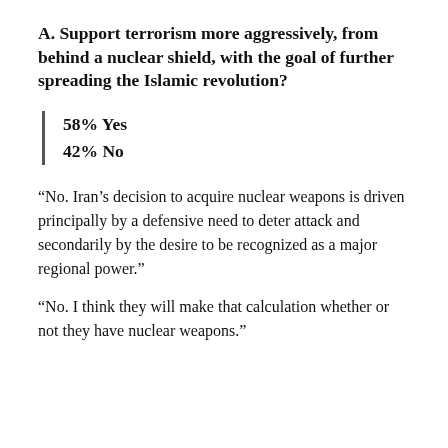A. Support terrorism more aggressively, from behind a nuclear shield, with the goal of further spreading the Islamic revolution?
58% Yes
42% No
“No. Iran’s decision to acquire nuclear weapons is driven principally by a defensive need to deter attack and secondarily by the desire to be recognized as a major regional power.”
“No. I think they will make that calculation whether or not they have nuclear weapons.”